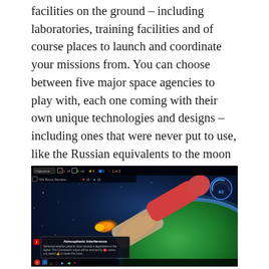facilities on the ground – including laboratories, training facilities and of course places to launch and coordinate your missions from. You can choose between five major space agencies to play with, each one coming with their own unique technologies and designs – including ones that were never put to use, like the Russian equivalents to the moon lander and Space Shuttle.
[Figure (screenshot): Screenshot of a space strategy game showing a rocket launching from Earth with a game HUD overlay including objectives bar, atmospheric interference alert dialog, and various UI elements.]